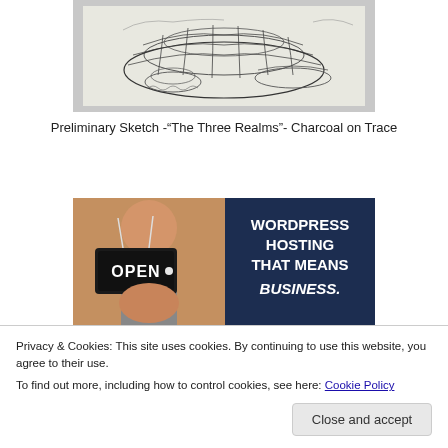[Figure (illustration): Pencil/charcoal sketch of abstract sculptural forms - preliminary artwork for 'The Three Realms', charcoal on trace paper. Shows wire-frame and organic bowl-like structures.]
Preliminary Sketch -“The Three Realms”- Charcoal on Trace
[Figure (photo): Advertisement banner: Left half shows a person holding an OPEN sign; right half is dark navy blue with white bold text reading 'WORDPRESS HOSTING THAT MEANS BUSINESS.']
Privacy & Cookies: This site uses cookies. By continuing to use this website, you agree to their use.
To find out more, including how to control cookies, see here: Cookie Policy
Close and accept